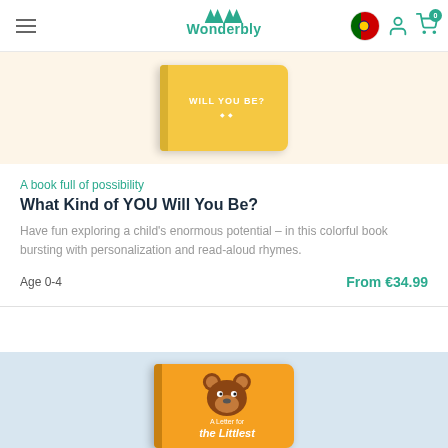Wonderbly
[Figure (photo): Yellow book cover showing 'WILL YOU BE?' text]
A book full of possibility
What Kind of YOU Will You Be?
Have fun exploring a child's enormous potential – in this colorful book bursting with personalization and read-aloud rhymes.
Age 0-4   From €34.99
[Figure (photo): Orange book cover 'A Letter for the Littlest' with bear illustration]